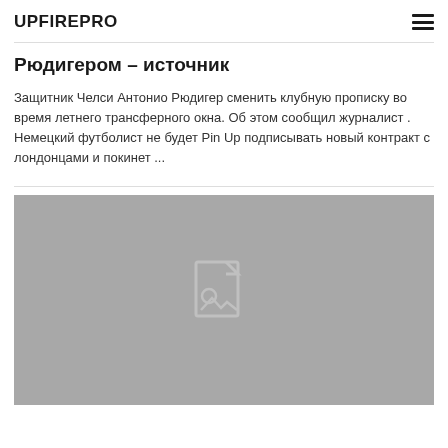UPFIREPRO
Рюдигером – источник
Защитник Челси Антонио Рюдигер сменить клубную прописку во время летнего трансферного окна. Об этом сообщил журналист . Немецкий футболист не будет Pin Up подписывать новый контракт с лондонцами и покинет ...
[Figure (photo): Placeholder image with a generic document/image icon on a grey background]